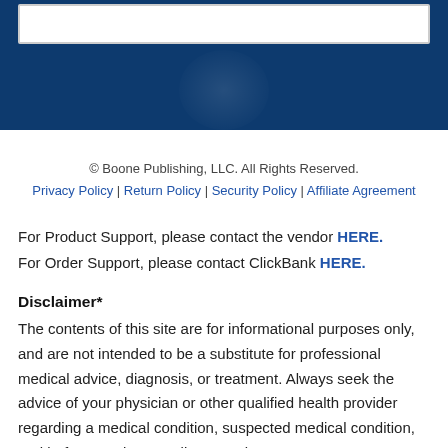[Figure (photo): Dark blue banner with a white search/input box at top and a faint circular shadow silhouette in the center-bottom area]
© Boone Publishing, LLC. All Rights Reserved.
Privacy Policy | Return Policy | Security Policy | Affiliate Agreement
For Product Support, please contact the vendor HERE.
For Order Support, please contact ClickBank HERE.
Disclaimer*
The contents of this site are for informational purposes only, and are not intended to be a substitute for professional medical advice, diagnosis, or treatment. Always seek the advice of your physician or other qualified health provider regarding a medical condition, suspected medical condition, and before starting any diet, exercise